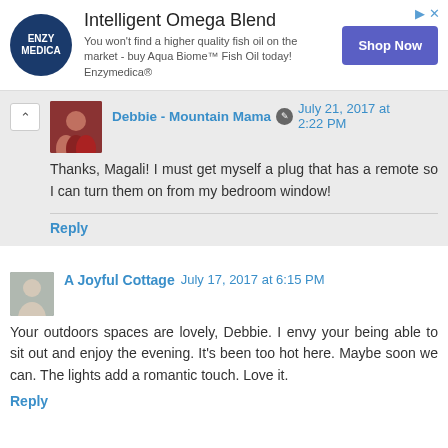[Figure (infographic): Advertisement banner for Enzymedica Intelligent Omega Blend fish oil product with logo, text, and Shop Now button]
Debbie - Mountain Mama July 21, 2017 at 2:22 PM
Thanks, Magali! I must get myself a plug that has a remote so I can turn them on from my bedroom window!
Reply
A Joyful Cottage July 17, 2017 at 6:15 PM
Your outdoors spaces are lovely, Debbie. I envy your being able to sit out and enjoy the evening. It's been too hot here. Maybe soon we can. The lights add a romantic touch. Love it.
Reply